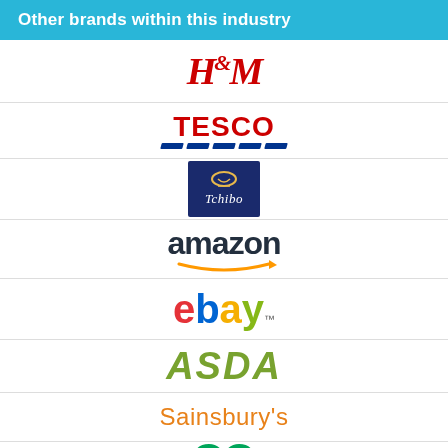Other brands within this industry
[Figure (logo): H&M logo in red italic script]
[Figure (logo): Tesco logo in red bold text with blue diagonal stripes below]
[Figure (logo): Tchibo logo in white italic text on dark navy blue background with yellow icon]
[Figure (logo): Amazon logo in dark text with orange arrow underneath]
[Figure (logo): eBay logo with multicolored letters: red e, blue b, yellow a, green y]
[Figure (logo): ASDA logo in green bold italic text]
[Figure (logo): Sainsbury's logo in orange text]
[Figure (logo): Boots logo partially visible at bottom - green heart shape]